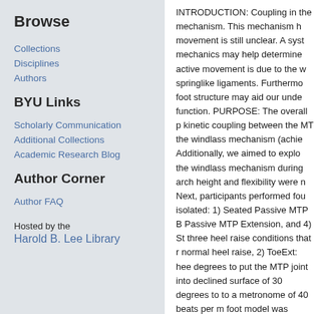Browse
Collections
Disciplines
Authors
BYU Links
Scholarly Communication
Additional Collections
Academic Research Blog
Author Corner
Author FAQ
Hosted by the
Harold B. Lee Library
INTRODUCTION: Coupling in the mechanism. This mechanism h movement is still unclear. A syst mechanics may help determine active movement is due to the w springlike ligaments. Furthermo foot structure may aid our unde function. PURPOSE: The overall p kinetic coupling between the MT the windlass mechanism (achie Additionally, we aimed to explo the windlass mechanism during arch height and flexibility were n Next, participants performed fou isolated: 1) Seated Passive MTP B Passive MTP Extension, and 4) St three heel raise conditions that r normal heel raise, 2) ToeExt: hee degrees to put the MTP joint into declined surface of 30 degrees to to a metronome of 40 beats per m foot model was created in Visua MTP joint angles, moments, pow approximately six times greater extension conditions and sugge